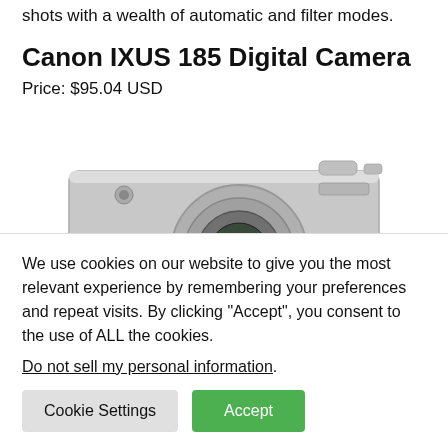shots with a wealth of automatic and filter modes.
Canon IXUS 185 Digital Camera
Price: $95.04 USD
[Figure (photo): Canon IXUS 185 Digital Camera, silver compact camera, partially visible from top angle showing lens and top controls]
We use cookies on our website to give you the most relevant experience by remembering your preferences and repeat visits. By clicking “Accept”, you consent to the use of ALL the cookies.
Do not sell my personal information.
Cookie Settings
Accept